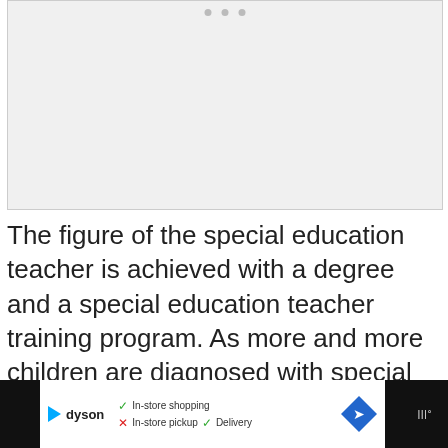[Figure (photo): Image placeholder area (light gray box representing a photo or illustration related to special education teacher)]
The figure of the special education teacher is achieved with a degree and a special education teacher training program. As more and more children are diagnosed with special needs and there is a shortage of qualified teachers, the United States expects strong demand for these specialists.
[Figure (other): Advertisement bar at bottom: Dyson ad with In-store shopping checkmark, In-store pickup with X, Delivery with checkmark, navigation diamond arrow icon, and microphone icon on black background]